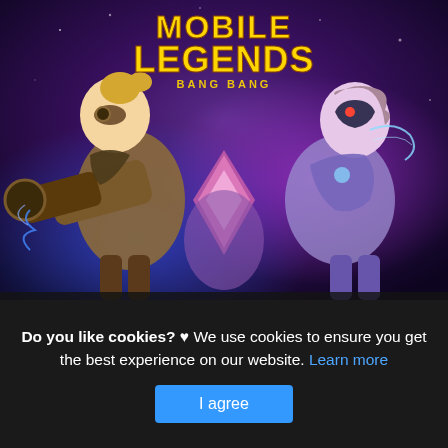[Figure (illustration): Mobile Legends: Bang Bang game promotional banner showing two characters — a steampunk female character on the left wielding a large cannon/mechanical arm, and a masked female character on the right in a futuristic suit. The game logo 'MOBILE LEGENDS BANG BANG' appears at the top center against a dark purple/blue fantasy background.]
Mobile Legends: Bang Bang 1 5 64 Advanced Server
This is actually a short article or even picture approximately the Mobile Legends: Bang Bang 1 5 64 Advanced Server official patch, if you prefer much a lot extra details around the short post or even graphic feel free to hit or even explore the
Do you like cookies? ♥ We use cookies to ensure you get the best experience on our website. Learn more
I agree